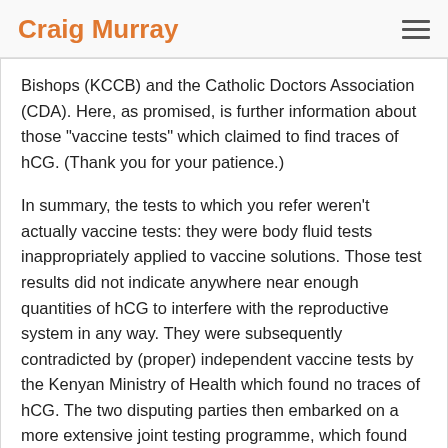Craig Murray
Bishops (KCCB) and the Catholic Doctors Association (CDA). Here, as promised, is further information about those "vaccine tests" which claimed to find traces of hCG. (Thank you for your patience.)
In summary, the tests to which you refer weren't actually vaccine tests: they were body fluid tests inappropriately applied to vaccine solutions. Those test results did not indicate anywhere near enough quantities of hCG to interfere with the reproductive system in any way. They were subsequently contradicted by (proper) independent vaccine tests by the Kenyan Ministry of Health which found no traces of hCG. The two disputing parties then embarked on a more extensive joint testing programme, which found that the only traces of hCG amongst the 59 samples were in the (opened) vials provided by the bishops' organisation. They issued a joint statement concluding that the vaccines did not contain hCG and had no effect on reproductive health. Case closed. (Except perhaps for conspiracy-minded individuals who